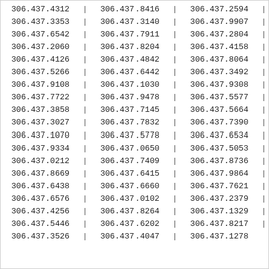| 306.437.4312 | | | 306.437.8416 | | | 306.437.2594 | | |
| 306.437.3353 | | | 306.437.3140 | | | 306.437.9907 | | |
| 306.437.6542 | | | 306.437.7911 | | | 306.437.2804 | | |
| 306.437.2060 | | | 306.437.8204 | | | 306.437.4158 | | |
| 306.437.4126 | | | 306.437.4842 | | | 306.437.8064 | | |
| 306.437.5266 | | | 306.437.6442 | | | 306.437.3492 | | |
| 306.437.9108 | | | 306.437.1030 | | | 306.437.9308 | | |
| 306.437.7722 | | | 306.437.9478 | | | 306.437.5577 | | |
| 306.437.3858 | | | 306.437.7145 | | | 306.437.5664 | | |
| 306.437.3027 | | | 306.437.7832 | | | 306.437.7390 | | |
| 306.437.1070 | | | 306.437.5778 | | | 306.437.6534 | | |
| 306.437.9334 | | | 306.437.0650 | | | 306.437.5053 | | |
| 306.437.0212 | | | 306.437.7409 | | | 306.437.8736 | | |
| 306.437.8669 | | | 306.437.6415 | | | 306.437.9864 | | |
| 306.437.6438 | | | 306.437.6660 | | | 306.437.7621 | | |
| 306.437.6576 | | | 306.437.0102 | | | 306.437.2379 | | |
| 306.437.4256 | | | 306.437.8264 | | | 306.437.1329 | | |
| 306.437.5446 | | | 306.437.6202 | | | 306.437.8217 | | |
| 306.437.3526 | | | 306.437.4047 | | | 306.437.1278 | | |